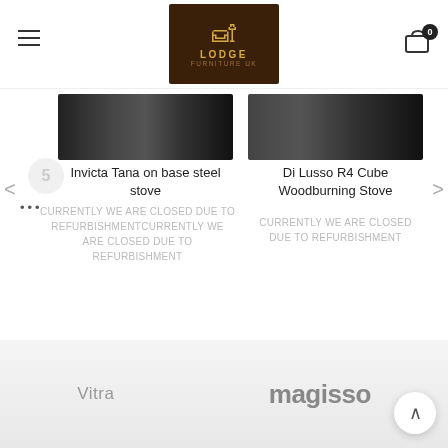[Figure (logo): Lodge Furniture UK logo — dark wood background with golden armchair icon and text 'LODGE FURNITURE UK']
Invicta Tana on base steel stove
CURRENTLY WE ARE CLOSED DUE TO REFURBISHMENTCURRENTLY WE ARE CLOSED DUE TO REFURBISHMENT
Di Lusso R4 Cube Woodburning Stove
CURRENTLY WE ARE CLOSED DUE TO REFURBISHMENT
[Figure (logo): Vitra brand text logo in gray]
[Figure (logo): magisso brand text logo in gray bold]